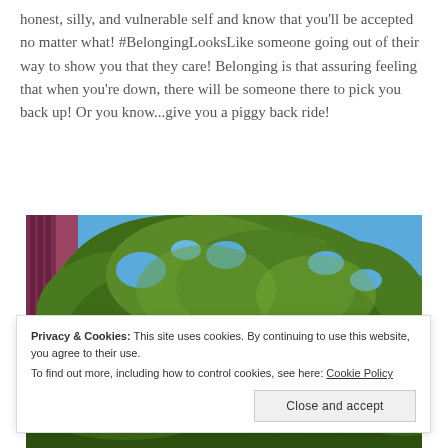honest, silly, and vulnerable self and know that you'll be accepted no matter what! #BelongingLooksLike someone going out of their way to show you that they care! Belonging is that assuring feeling that when you're down, there will be someone there to pick you back up! Or you know...give you a piggy back ride!
[Figure (photo): Outdoor photo looking up through green tree canopy against a blue sky, with the edge of a colorful building visible on the left and a green awning or tent visible in the upper right.]
Privacy & Cookies: This site uses cookies. By continuing to use this website, you agree to their use.
To find out more, including how to control cookies, see here: Cookie Policy
Close and accept